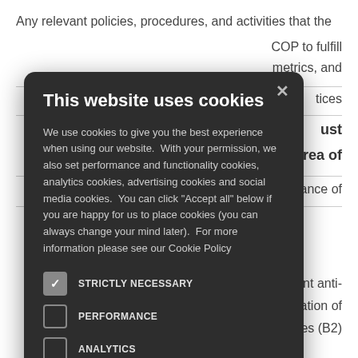Any relevant policies, procedures, and activities that the
COP to fulfill
metrics, and
tices
ust
in the area of
erance of
ll relevant anti-
tation of
r changes (B2)
[Figure (screenshot): Cookie consent modal dialog on dark background (#2d2d2d). Title: 'This website uses cookies'. Body text explains cookie usage. Checkboxes for: STRICTLY NECESSARY (checked), PERFORMANCE (unchecked), ANALYTICS (unchecked), FUNCTIONALITY (unchecked), SOCIAL MEDIA (unchecked). Close button (X) in top right.]